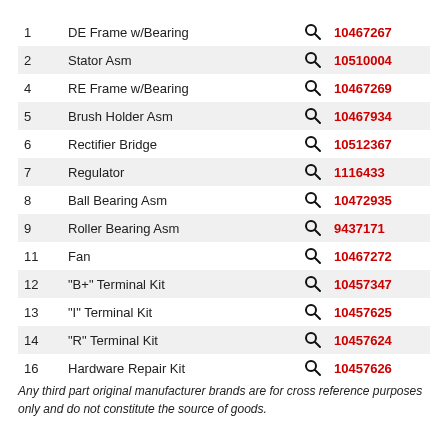| # | Name |  | Part Number |
| --- | --- | --- | --- |
| 1 | DE Frame w/Bearing |  | 10467267 |
| 2 | Stator Asm |  | 10510004 |
| 4 | RE Frame w/Bearing |  | 10467269 |
| 5 | Brush Holder Asm |  | 10467934 |
| 6 | Rectifier Bridge |  | 10512367 |
| 7 | Regulator |  | 1116433 |
| 8 | Ball Bearing Asm |  | 10472935 |
| 9 | Roller Bearing Asm |  | 9437171 |
| 11 | Fan |  | 10467272 |
| 12 | "B+" Terminal Kit |  | 10457347 |
| 13 | "I" Terminal Kit |  | 10457625 |
| 14 | "R" Terminal Kit |  | 10457624 |
| 16 | Hardware Repair Kit |  | 10457626 |
Any third part original manufacturer brands are for cross reference purposes only and do not constitute the source of goods.